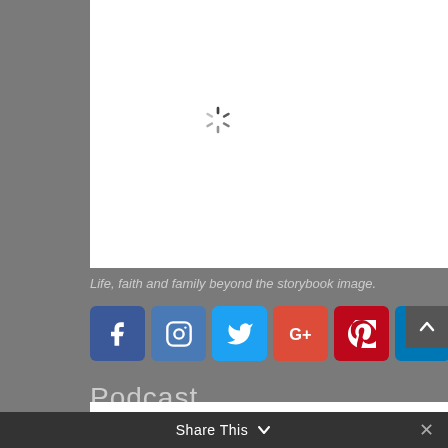[Figure (screenshot): White content area with a loading spinner (circular dashed spinner) centered in it, on a dark gray background. Below it are social media share buttons (Facebook, Instagram, Twitter, Google+, Pinterest, LinkedIn) and a Podcast heading. A 'Share This' bar appears at the bottom.]
Life, faith and family beyond the storybook image.
Podcast
Share This ∨  ✕